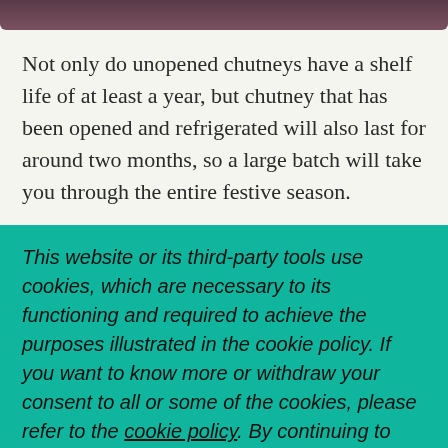[Figure (photo): Partial image at top of page, dark reddish-brown gradient, cropped]
Not only do unopened chutneys have a shelf life of at least a year, but chutney that has been opened and refrigerated will also last for around two months, so a large batch will take you through the entire festive season.
This website or its third-party tools use cookies, which are necessary to its functioning and required to achieve the purposes illustrated in the cookie policy. If you want to know more or withdraw your consent to all or some of the cookies, please refer to the cookie policy. By continuing to browse you agree to the use of cookies.
I understand